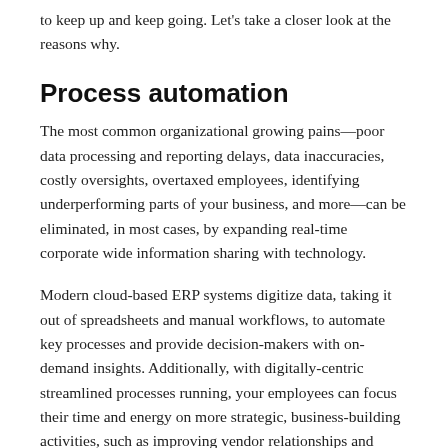to keep up and keep going. Let's take a closer look at the reasons why.
Process automation
The most common organizational growing pains—poor data processing and reporting delays, data inaccuracies, costly oversights, overtaxed employees, identifying underperforming parts of your business, and more—can be eliminated, in most cases, by expanding real-time corporate wide information sharing with technology.
Modern cloud-based ERP systems digitize data, taking it out of spreadsheets and manual workflows, to automate key processes and provide decision-makers with on-demand insights. Additionally, with digitally-centric streamlined processes running, your employees can focus their time and energy on more strategic, business-building activities, such as improving vendor relationships and enhancing